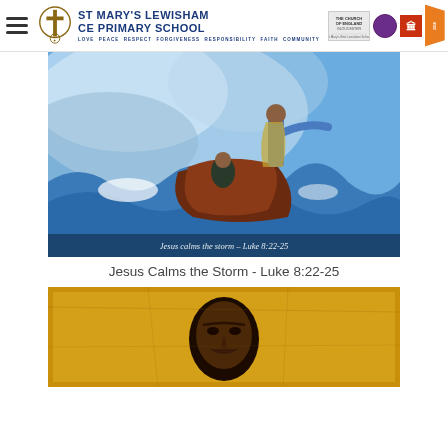ST MARY'S LEWISHAM CE PRIMARY SCHOOL — LOVE PEACE RESPECT FORGIVENESS RESPONSIBILITY FAITH COMMUNITY
[Figure (illustration): Painting of Jesus calming the storm on a boat with disciples amid turbulent waves. Caption overlay reads 'Jesus calms the storm – Luke 8:22-25'.]
Jesus Calms the Storm - Luke 8:22-25
[Figure (illustration): Byzantine-style icon painting showing a figure's face on a golden background.]